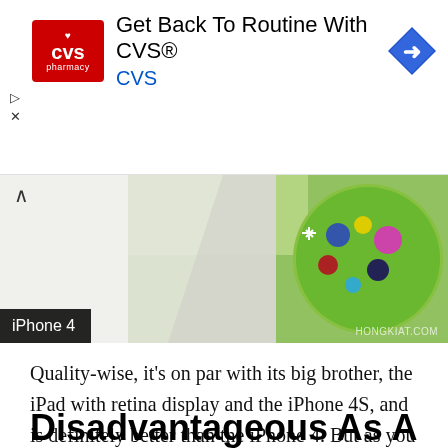[Figure (screenshot): CVS Pharmacy advertisement banner with red CVS logo, text 'Get Back To Routine With CVS®' and 'CVS' in blue, blue diamond arrow icon on right]
[Figure (photo): Partial image strip showing iPhone 4 label on dark background on left, green/colorful circular graphic on right, with watermark HONGKIAT.COM, and chevron up arrow at top]
Quality-wise, it's on par with its big brother, the iPad with retina display and the iPhone 4S, and is definitely better than the iPhone 4. But as you can see above, the clear winner was a no-brainer, the iPhone 5's 8-Megapixel iSight Camera still wins hands down.
Disadvantageous As A